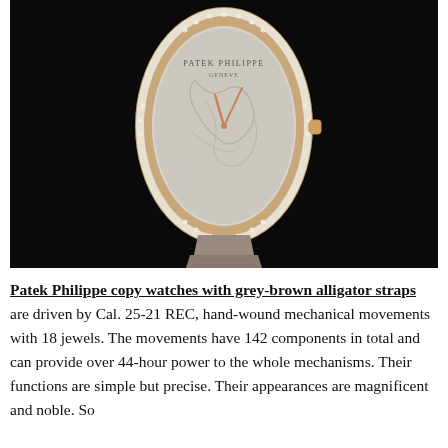[Figure (photo): Patek Philippe luxury watch with diamond-set bezel, decorative engraved dial, rose gold case, and grey-brown alligator leather strap, displayed on a black background.]
Patek Philippe copy watches with grey-brown alligator straps are driven by Cal. 25-21 REC, hand-wound mechanical movements with 18 jewels. The movements have 142 components in total and can provide over 44-hour power to the whole mechanisms. Their functions are simple but precise. Their appearances are magnificent and noble. So